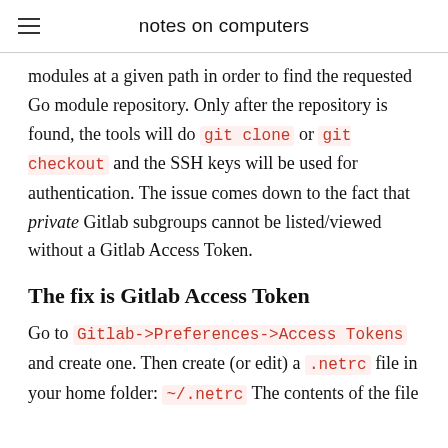notes on computers
modules at a given path in order to find the requested Go module repository. Only after the repository is found, the tools will do git clone or git checkout and the SSH keys will be used for authentication. The issue comes down to the fact that private Gitlab subgroups cannot be listed/viewed without a Gitlab Access Token.
The fix is Gitlab Access Token
Go to Gitlab->Preferences->Access Tokens and create one. Then create (or edit) a .netrc file in your home folder: ~/.netrc The contents of the file